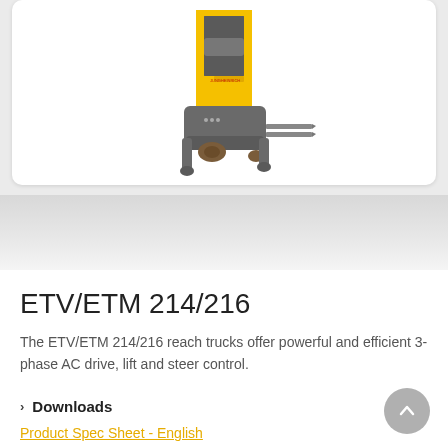[Figure (photo): Jungheinrich ETV/ETM 214/216 reach truck forklift. Yellow and gray colored electric reach truck with visible mast and forks, shown in a white rounded card.]
ETV/ETM 214/216
The ETV/ETM 214/216 reach trucks offer powerful and efficient 3-phase AC drive, lift and steer control.
Downloads
Product Spec Sheet - English